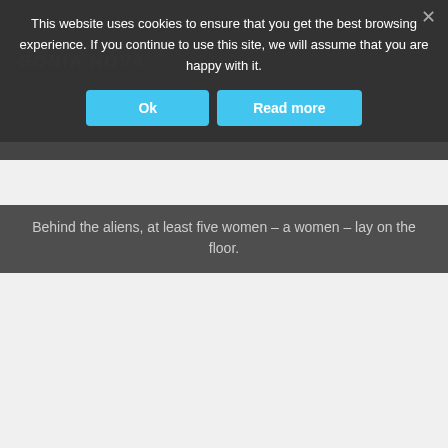This website uses cookies to ensure that you get the best browsing experience. If you continue to use this site, we will assume that you are happy with it.
Ok
Read more
Behind the aliens, at least five women – lay on the floor.
Unconscious or… dead? Emily couldn't tell. It was like a scene of nightmares.
"Jessica! Amy!" Ruth darted toward the women.
A lump formed in Emily's throat. Had they been her camping group?
Emily looked at the green creatures. There was no way this was a prank. Anyone who attacked people like this, even if for a "prank", was just asking to get sued. Surely, no one would be stupid enough to do something that dumb.
If these really were aliens, she needed to fight, and fight now. Clearly, they were not friendly, and they were taking captives.